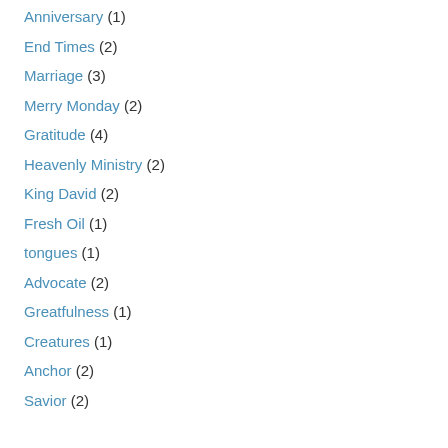Anniversary (1)
End Times (2)
Marriage (3)
Merry Monday (2)
Gratitude (4)
Heavenly Ministry (2)
King David (2)
Fresh Oil (1)
tongues (1)
Advocate (2)
Greatfulness (1)
Creatures (1)
Anchor (2)
Savior (2)